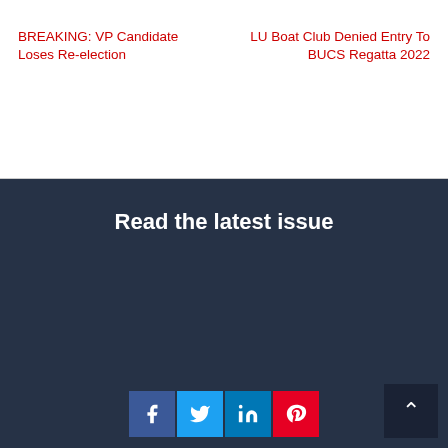BREAKING: VP Candidate Loses Re-election
LU Boat Club Denied Entry To BUCS Regatta 2022
Read the latest issue
[Figure (other): Social media share buttons: Facebook, Twitter, LinkedIn, Pinterest; and a scroll-to-top button]